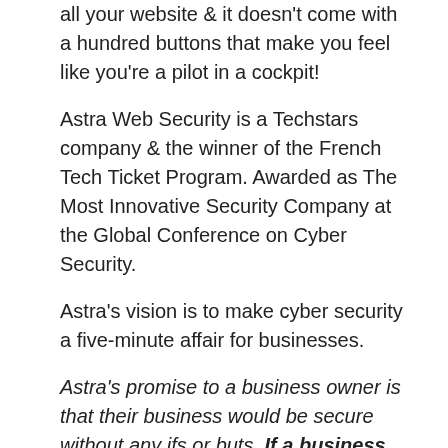all your website & it doesn't come with a hundred buttons that make you feel like you're a pilot in a cockpit!
Astra Web Security is a Techstars company & the winner of the French Tech Ticket Program. Awarded as The Most Innovative Security Company at the Global Conference on Cyber Security.
Astra's vision is to make cyber security a five-minute affair for businesses.
Astra's promise to a business owner is that their business would be secure without any ifs or buts. If a business is using Astra, they will be secure – no questions asked.
Features
Web Application Firewall (WAF)
Robust community-powered security engine
Installs as an extension in your website (No need